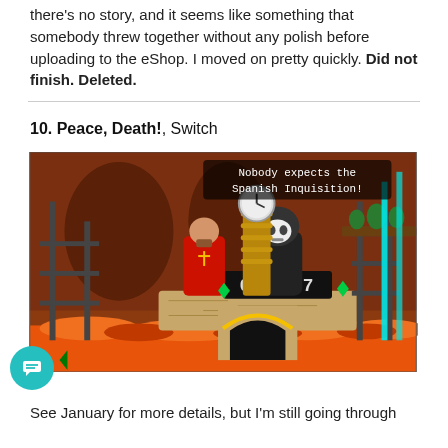there's no story, and it seems like something that somebody threw together without any polish before uploading to the eShop. I moved on pretty quickly. Did not finish. Deleted.
10. Peace, Death!, Switch
[Figure (screenshot): Screenshot from the game Peace, Death! showing two characters (a red-robed priest and a grim reaper in black) on a platform with the text 'Nobody expects the Spanish Inquisition!' and a score display reading '000067'. The background is a hellish orange environment with metal scaffolding and cyan glowing bars.]
See January for more details, but I'm still going through